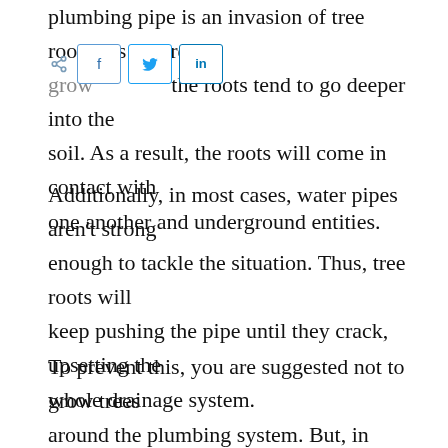plumbing pipe is an invasion of tree roots. As the tree grow... the roots tend to go deeper into the soil. As a result, the roots will come in contact with one another and underground entities.
Additionally, in most cases, water pipes aren't strong enough to tackle the situation. Thus, tree roots will keep pushing the pipe until they crack, upsetting the whole drainage system.
To prevent this, you are suggested not to grow trees around the plumbing system. But, in case if the tree is already planted, there isn't much you can do. When you feel stuck with some problem, never doubt about calling for professional assistance. The...